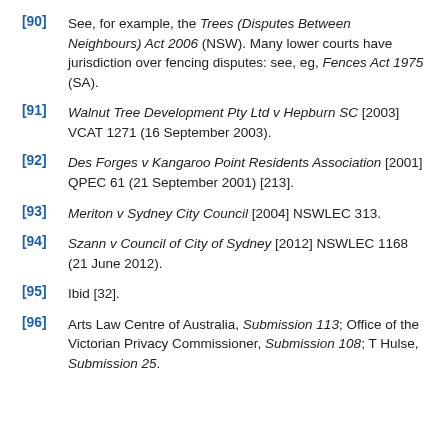[90]  See, for example, the Trees (Disputes Between Neighbours) Act 2006 (NSW). Many lower courts have jurisdiction over fencing disputes: see, eg, Fences Act 1975 (SA).
[91]  Walnut Tree Development Pty Ltd v Hepburn SC [2003] VCAT 1271 (16 September 2003).
[92]  Des Forges v Kangaroo Point Residents Association [2001] QPEC 61 (21 September 2001) [213].
[93]  Meriton v Sydney City Council [2004] NSWLEC 313.
[94]  Szann v Council of City of Sydney [2012] NSWLEC 1168 (21 June 2012).
[95]  Ibid [32].
[96]  Arts Law Centre of Australia, Submission 113; Office of the Victorian Privacy Commissioner, Submission 108; T Hulse, Submission 25.